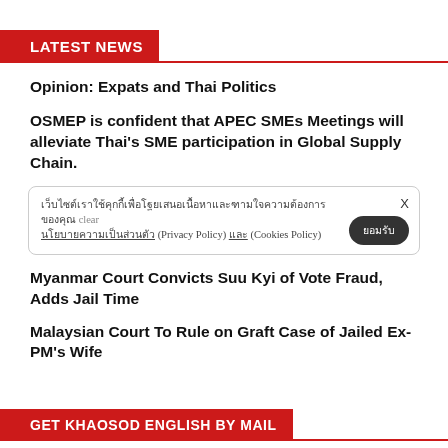LATEST NEWS
Opinion: Expats and Thai Politics
OSMEP is confident that APEC SMEs Meetings will alleviate Thai's SME participation in Global Supply Chain.
[Cookie banner with Thai text, Privacy Policy, Cookies Policy, clear and accept button, X close]
Myanmar Court Convicts Suu Kyi of Vote Fraud, Adds Jail Time
Malaysian Court To Rule on Graft Case of Jailed Ex-PM's Wife
GET KHAOSOD ENGLISH BY MAIL
Newsletter: